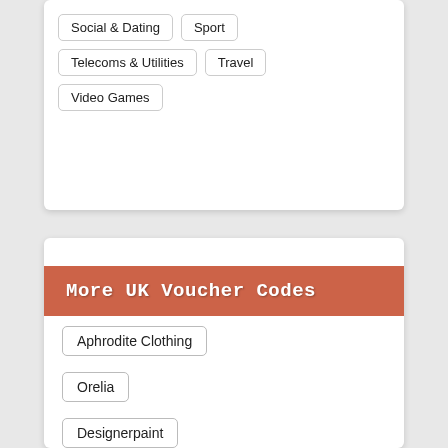Social & Dating
Sport
Telecoms & Utilities
Travel
Video Games
More UK Voucher Codes
Aphrodite Clothing
Orelia
Designerpaint
TotallyMoney
Claro Direct